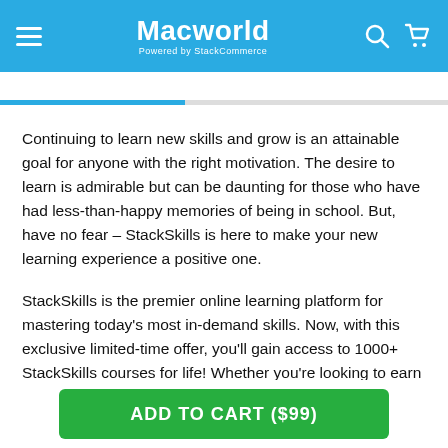Macworld — Powered by StackCommerce
Continuing to learn new skills and grow is an attainable goal for anyone with the right motivation. The desire to learn is admirable but can be daunting for those who have had less-than-happy memories of being in school. But, have no fear – StackSkills is here to make your new learning experience a positive one.
StackSkills is the premier online learning platform for mastering today's most in-demand skills. Now, with this exclusive limited-time offer, you'll gain access to 1000+ StackSkills courses for life! Whether you're looking to earn a promotion, make a career change, or pick up a side hustle to make some extra cash, StackSkills delivers engaging
ADD TO CART ($99)